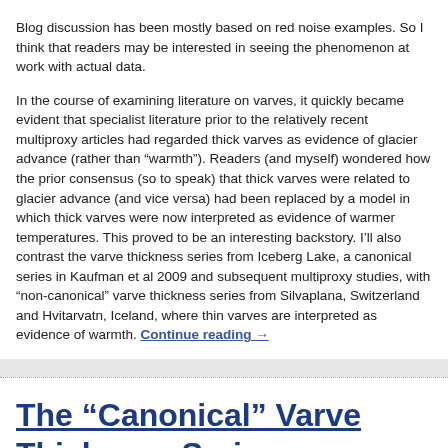Blog discussion has been mostly based on red noise examples. So I think that readers may be interested in seeing the phenomenon at work with actual data.
In the course of examining literature on varves, it quickly became evident that specialist literature prior to the relatively recent multiproxy articles had regarded thick varves as evidence of glacier advance (rather than “warmth”). Readers (and myself) wondered how the prior consensus (so to speak) that thick varves were related to glacier advance (and vice versa) had been replaced by a model in which thick varves were now interpreted as evidence of warmer temperatures. This proved to be an interesting backstory. I’ll also contrast the varve thickness series from Iceberg Lake, a canonical series in Kaufman et al 2009 and subsequent multiproxy studies, with “non-canonical” varve thickness series from Silvaplana, Switzerland and Hvitarvatn, Iceland, where thin varves are interpreted as evidence of warmth. Continue reading →
The “Canonical” Varve Thickness Series